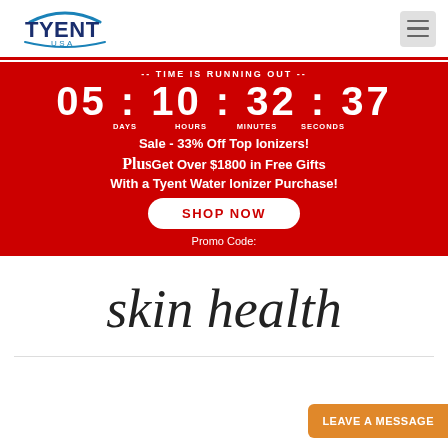[Figure (logo): Tyent USA logo with stylized arc/wave above the text]
[Figure (infographic): Red promotional banner with countdown timer showing 05:10:32:37 (days, hours, minutes, seconds), Sale 33% Off Top Ionizers, Plus Get Over $1800 in Free Gifts With a Tyent Water Ionizer Purchase, SHOP NOW button, and Promo Code label]
skin health
LEAVE A MESSAGE